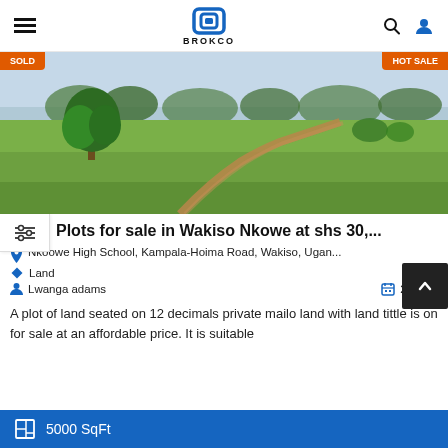BROKCO — navigation bar with hamburger menu, logo, search and user icons
[Figure (photo): Aerial/ground-level photo of a grassy plot of land with trees in the background and a dirt path. Two orange badges: 'SOLD' top-left and 'HOT SALE' top-right.]
Plots for sale in Wakiso Nkowe at shs 30,...
Nkoowe High School, Kampala-Hoima Road, Wakiso, Ugan...
Land
Lwanga adams
2 years
A plot of land seated on 12 decimals private mailo land with land tittle is on for sale at an affordable price. It is suitable
5000 SqFt